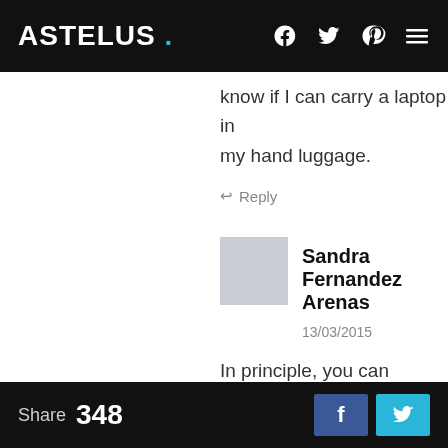ASTELUS .
know if I can carry a laptop in my hand luggage.
↩ Reply
Sandra Fernandez Arenas   13/03/2015
In principle, you can take it with all airlines, but it would be better if you specify the airline you are traveling with to give
Share 348